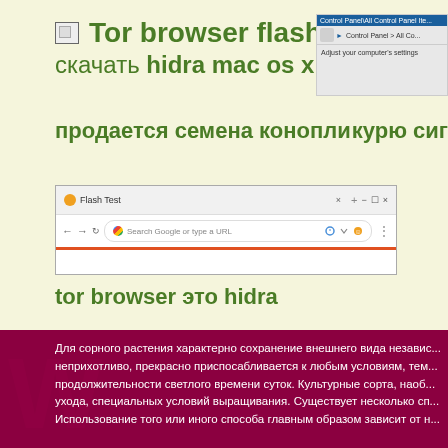Tor browser flash player скачать hidra mac os x tor
[Figure (screenshot): Control Panel window screenshot showing 'Adjust your computer's settings']
продается семена конопли
курю сиг
[Figure (screenshot): Chrome browser window showing Flash Test tab with address bar 'Search Google or type a URL' and orange bar at bottom]
tor browser это hidra
Для сорного растения характерно сохранение внешнего вида независ... неприхотливо, прекрасно приспосабливается к любым условиям, тем... продолжительности светлого времени суток. Культурные сорта, наоб... ухода, специальных условий выращивания. Существует несколько сп... Использование того или иного способа главным образом зависит от н...